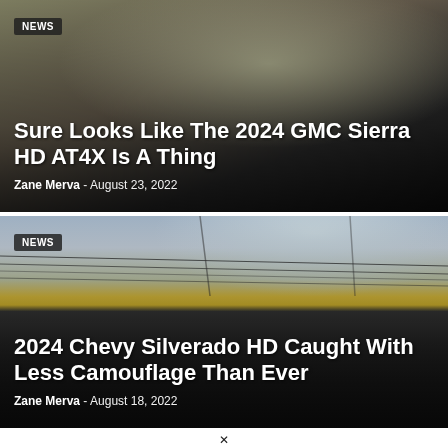[Figure (photo): Close-up photo of a dark GMC Sierra HD truck against a golden field background]
NEWS
Sure Looks Like The 2024 GMC Sierra HD AT4X Is A Thing
Zane Merva  -  August 23, 2022
[Figure (photo): Photo of a camouflaged 2024 Chevy Silverado HD truck in a parking lot with power lines overhead]
NEWS
2024 Chevy Silverado HD Caught With Less Camouflage Than Ever
Zane Merva  -  August 18, 2022